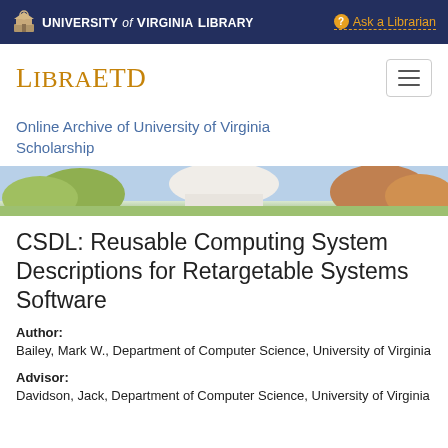University of Virginia Library   Ask a Librarian
LibraETD
Online Archive of University of Virginia Scholarship
[Figure (photo): Photograph of University of Virginia campus building with trees]
CSDL: Reusable Computing System Descriptions for Retargetable Systems Software
Author: Bailey, Mark W., Department of Computer Science, University of Virginia
Advisor: Davidson, Jack, Department of Computer Science, University of Virginia